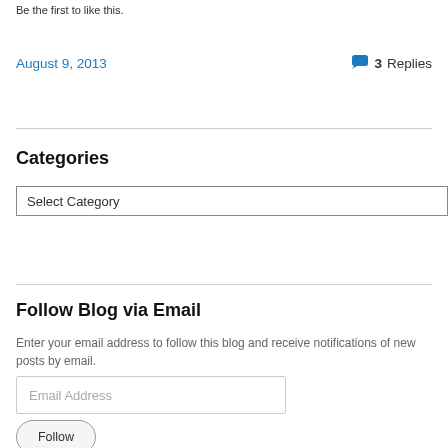Be the first to like this.
August 9, 2013   3 Replies
Categories
Select Category
Follow Blog via Email
Enter your email address to follow this blog and receive notifications of new posts by email.
Email Address
Follow